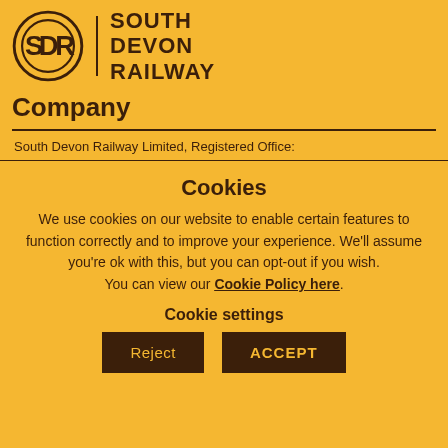[Figure (logo): South Devon Railway circular logo with SDR letters and text SOUTH DEVON RAILWAY]
Company
South Devon Railway Limited, Registered Office:
Cookies
We use cookies on our website to enable certain features to function correctly and to improve your experience. We'll assume you're ok with this, but you can opt-out if you wish. You can view our Cookie Policy here.
Cookie settings
Reject | ACCEPT